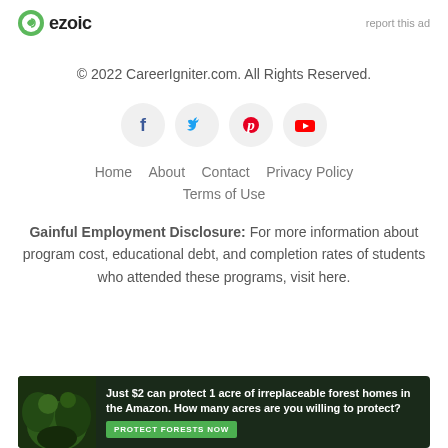[Figure (logo): Ezoic logo with green circular icon and 'ezoic' text, plus 'report this ad' link on the right]
© 2022 CareerIgniter.com. All Rights Reserved.
[Figure (infographic): Social media icons: Facebook, Twitter, Pinterest, YouTube in light grey circles]
Home   About   Contact   Privacy Policy   Terms of Use
Gainful Employment Disclosure: For more information about program cost, educational debt, and completion rates of students who attended these programs, visit here.
[Figure (infographic): Ad banner with dark forest background: 'Just $2 can protect 1 acre of irreplaceable forest homes in the Amazon. How many acres are you willing to protect?' with green PROTECT FORESTS NOW button]